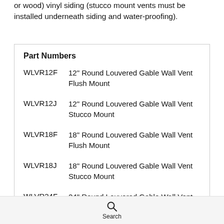or wood) vinyl siding (stucco mount vents must be installed underneath siding and water-proofing).
Part Numbers
WLVR12F   12" Round Louvered Gable Wall Vent Flush Mount
WLVR12J   12" Round Louvered Gable Wall Vent Stucco Mount
WLVR18F   18" Round Louvered Gable Wall Vent Flush Mount
WLVR18J   18" Round Louvered Gable Wall Vent Stucco Mount
WLVR24F   24" Round Louvered Gable Wall Vent Flush Mount
Search